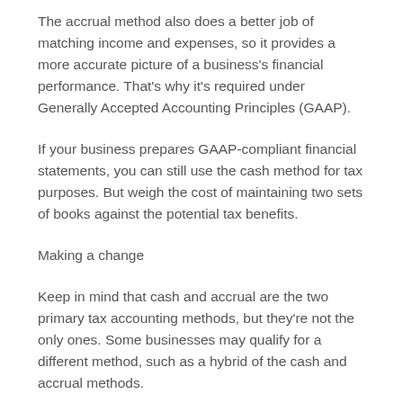The accrual method also does a better job of matching income and expenses, so it provides a more accurate picture of a business's financial performance. That's why it's required under Generally Accepted Accounting Principles (GAAP).
If your business prepares GAAP-compliant financial statements, you can still use the cash method for tax purposes. But weigh the cost of maintaining two sets of books against the potential tax benefits.
Making a change
Keep in mind that cash and accrual are the two primary tax accounting methods, but they're not the only ones. Some businesses may qualify for a different method, such as a hybrid of the cash and accrual methods.
If your business is eligible for more than one method, we can help you determine whether switching methods would